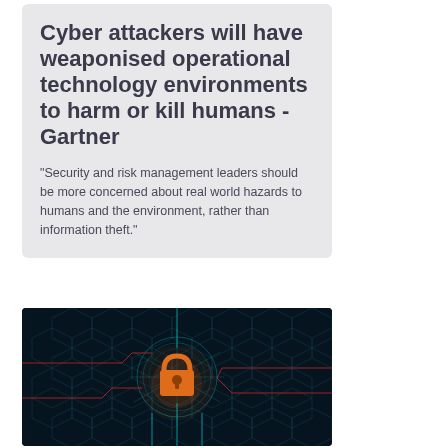Cyber attackers will have weaponised operational technology environments to harm or kill humans - Gartner
"Security and risk management leaders should be more concerned about real world hazards to humans and the environment, rather than information theft."
[Figure (photo): Dark cybersecurity themed image showing a glowing orange padlock icon centered on a dark teal circuit board / network pattern background with red and cyan lines radiating outward.]